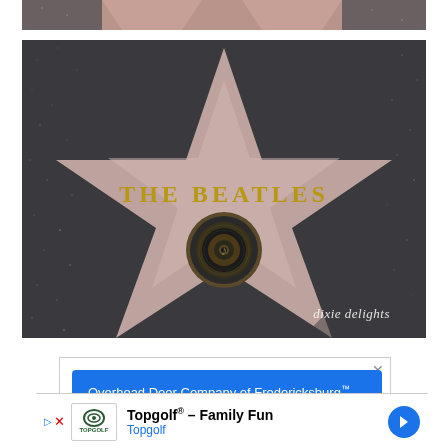[Figure (photo): Partial view of a Hollywood Walk of Fame star, showing pink terrazzo with dark granite border, cropped at top of page]
[Figure (photo): The Beatles' star on the Hollywood Walk of Fame. A large pink five-pointed star with dark granite surround, with 'THE BEATLES' lettered in gold/brass across the center, and a record/music note medallion in the middle. Watermark 'dixie delights' in lower right corner.]
[Figure (screenshot): Advertisement for Overhead Door Company of Fredericksburg with blue background and white text, with close (X) and play button icons]
[Figure (screenshot): Advertisement for Topgolf - Family Fun, showing Topgolf logo, title 'Topgolf® - Family Fun', subtitle 'Topgolf' in blue, with a blue circular navigation arrow on the right]